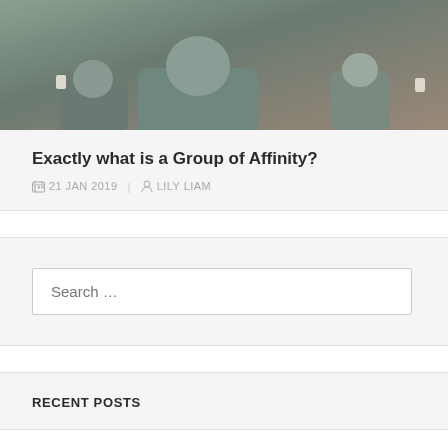[Figure (photo): Group of people seated in a circle, seen from behind, having a group meeting or discussion. One person in a teal/grey sweater is prominent in the foreground.]
Exactly what is a Group of Affinity?
21 JAN 2019 | LILY LIAM
Search …
RECENT POSTS
Tips for Safe and Secure Online Casino Gambling